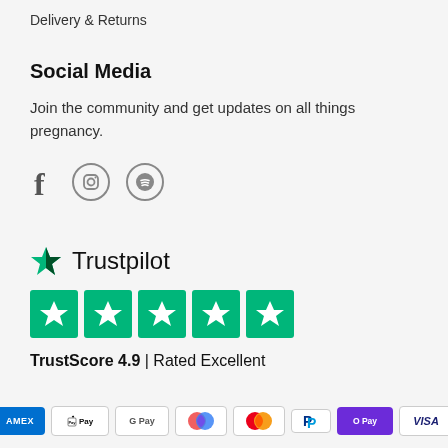Delivery & Returns
Social Media
Join the community and get updates on all things pregnancy.
[Figure (illustration): Social media icons: Facebook, Instagram, Spotify]
[Figure (logo): Trustpilot logo with green star]
[Figure (illustration): Five green Trustpilot star boxes]
TrustScore 4.9 | Rated Excellent
[Figure (illustration): Payment method icons: Amex, Apple Pay, Google Pay, Maestro, Mastercard, PayPal, O Pay, Visa]